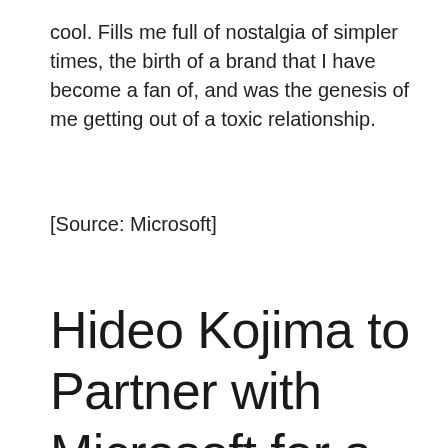cool. Fills me full of nostalgia of simpler times, the birth of a brand that I have become a fan of, and was the genesis of me getting out of a toxic relationship.
[Source: Microsoft]
Hideo Kojima to Partner with Microsoft for a New Game on Xbox